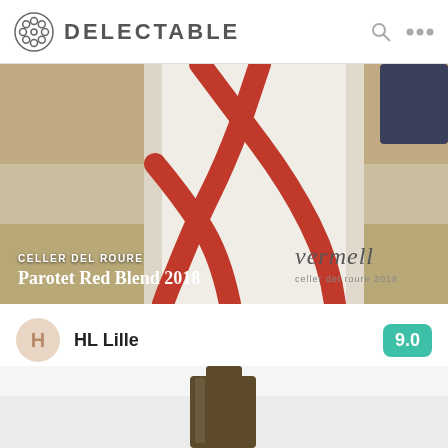DELECTABLE
[Figure (photo): Close-up photo of a wine bottle with white label featuring a red X/cross graphic design. The word 'vermell' appears in italic text. The bottle is set against a warm tan/wood background.]
CELLER DEL ROURE Parotet Red Blend 2018
HL Lille — 9.0
Those buried mud amphorae sure do wonders! Varietal: Vermell grapes from Catalan. — a year ago
[Figure (photo): Partial view of the bottom of a dark wine bottle against a light gray/white background.]